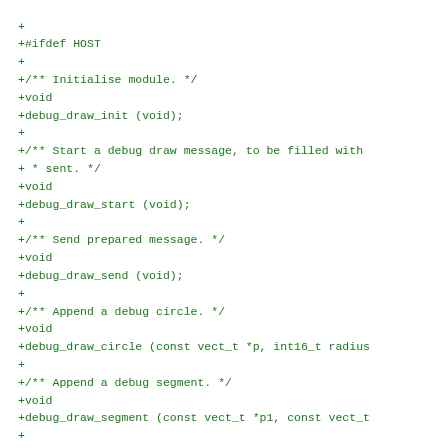+
+#ifdef HOST
+
+/** Initialise module. */
+void
+debug_draw_init (void);
+
+/** Start a debug draw message, to be filled with
+ * sent. */
+void
+debug_draw_start (void);
+
+/** Send prepared message. */
+void
+debug_draw_send (void);
+
+/** Append a debug circle. */
+void
+debug_draw_circle (const vect_t *p, int16_t radius
+
+/** Append a debug segment. */
+void
+debug_draw_segment (const vect_t *p1, const vect_t
+
+/** Append a debug point. */
+void
+debug_draw_point (const vect_t *p, uint8_t color);
+
+#endif
+
+#endif /* debug_draw_host.h */